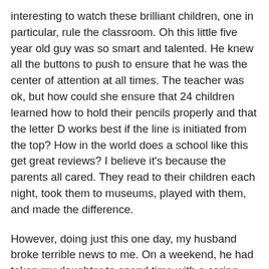interesting to watch these brilliant children, one in particular, rule the classroom. Oh this little five year old guy was so smart and talented. He knew all the buttons to push to ensure that he was the center of attention at all times. The teacher was ok, but how could she ensure that 24 children learned how to hold their pencils properly and that the letter D works best if the line is initiated from the top? How in the world does a school like this get great reviews? I believe it's because the parents all cared. They read to their children each night, took them to museums, played with them, and made the difference.
However, doing just this one day, my husband broke terrible news to me. On a weekend, he had taken my daughter to spend time with a caring retired occupational therapist of whom he did home upgrades for who alarmed him that she didn't hold the pencil or crayons properly.
I spent the remainder of the year constantly correcting my daughter's pencil hold. I sent special grips to school and email